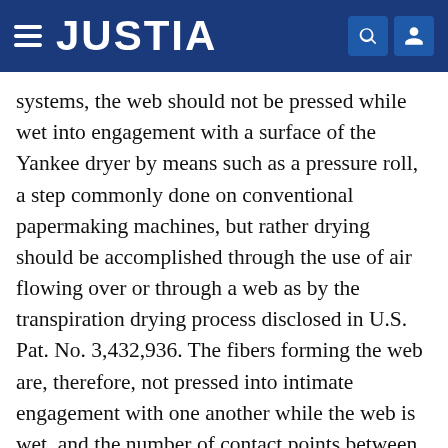JUSTIA
systems, the web should not be pressed while wet into engagement with a surface of the Yankee dryer by means such as a pressure roll, a step commonly done on conventional papermaking machines, but rather drying should be accomplished through the use of air flowing over or through a web as by the transpiration drying process disclosed in U.S. Pat. No. 3,432,936. The fibers forming the web are, therefore, not pressed into intimate engagement with one another while the web is wet, and the number of contact points between fibers is reduced, resulting in a reduction of interfiber bonding strength. Such conditions of reduced pressing are preferably maintained until the web is substantially dried so that few interfiber bonds are formed.
Of course, the foregoing clearly indicates that a press section, such as is conventionally used to extract